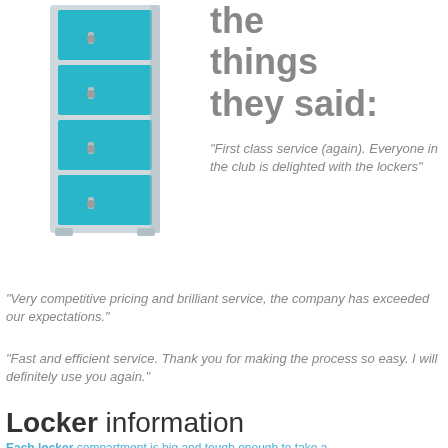[Figure (illustration): A tall narrow metal locker unit with 4 compartments, light grey body with bright teal/blue doors, each door has a silver handle/lock]
the things they said:
“First class service (again). Everyone in the club is delighted with the lockers”
“Very competitive pricing and brilliant service, the company has exceeded our expectations.”
“Fast and efficient service. Thank you for making the process so easy. I will definitely use you again.”
Locker information
Each locker compartment is big and tough enough to take a